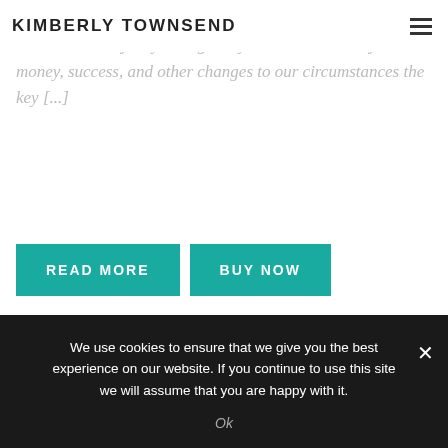KIMBERLY TOWNSEND
you might say money. If you're overdue for a promotion, raise, or better job, you might say success or a new job. Are money, success, and other changes to our circumstances the key [...]
READ MORE
BUY NOW
SHARE ON FACEBOOK
SHARE ON TWITTER
SHARE ON LINKEDIN
SEND IN AN EMAIL
We use cookies to ensure that we give you the best experience on our website. If you continue to use this site we will assume that you are happy with it.
Ok